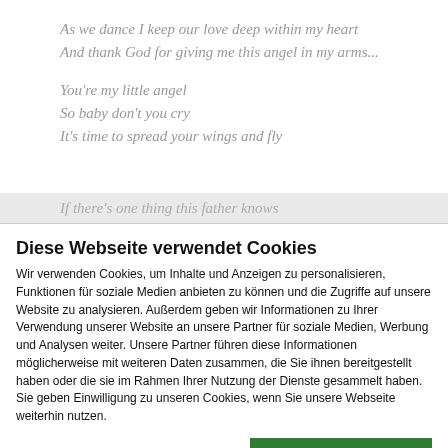As we dance I keep our love deep within my heart
And thank God for giving me this angel in my arms...

You're my little angel
So baby don't you cry
It's time to spread your wings and fly
If there's one thing this father knows
Diese Webseite verwendet Cookies
Wir verwenden Cookies, um Inhalte und Anzeigen zu personalisieren, Funktionen für soziale Medien anbieten zu können und die Zugriffe auf unsere Website zu analysieren. Außerdem geben wir Informationen zu Ihrer Verwendung unserer Website an unsere Partner für soziale Medien, Werbung und Analysen weiter. Unsere Partner führen diese Informationen möglicherweise mit weiteren Daten zusammen, die Sie ihnen bereitgestellt haben oder die sie im Rahmen Ihrer Nutzung der Dienste gesammelt haben. Sie geben Einwilligung zu unseren Cookies, wenn Sie unsere Webseite weiterhin nutzen.
OK
Notwendig  Präferenzen  Statistiken  Marketing  Details zeigen